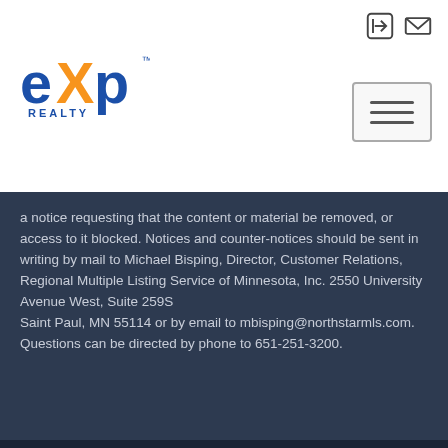[Figure (logo): eXp Realty logo — blue 'exp' text with orange 'X', 'REALTY' below]
a notice requesting that the content or material be removed, or access to it blocked. Notices and counter-notices should be sent in writing by mail to Michael Bisping, Director, Customer Relations, Regional Multiple Listing Service of Minnesota, Inc. 2550 University Avenue West, Suite 259S
Saint Paul, MN 55114 or by email to mbisping@northstarmls.com. Questions can be directed by phone to 651-251-3200.